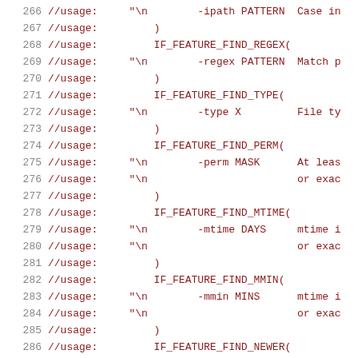266  //usage:     "\n        -ipath PATTERN  Case in
267  //usage:         )
268  //usage:         IF_FEATURE_FIND_REGEX(
269  //usage:     "\n        -regex PATTERN  Match p
270  //usage:         )
271  //usage:         IF_FEATURE_FIND_TYPE(
272  //usage:     "\n        -type X         File ty
273  //usage:         )
274  //usage:         IF_FEATURE_FIND_PERM(
275  //usage:     "\n        -perm MASK      At leas
276  //usage:     "\n                        or exac
277  //usage:         )
278  //usage:         IF_FEATURE_FIND_MTIME(
279  //usage:     "\n        -mtime DAYS     mtime i
280  //usage:     "\n                        or exac
281  //usage:         )
282  //usage:         IF_FEATURE_FIND_MMIN(
283  //usage:     "\n        -mmin MINS      mtime i
284  //usage:     "\n                        or exac
285  //usage:         )
286  //usage:         IF_FEATURE_FIND_NEWER(